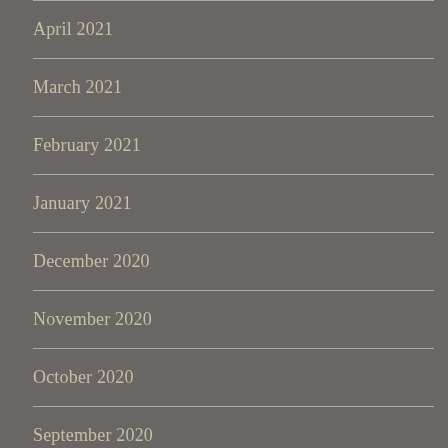April 2021
March 2021
February 2021
January 2021
December 2020
November 2020
October 2020
September 2020